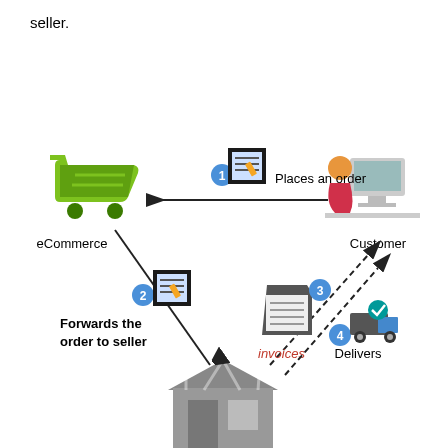seller.
[Figure (flowchart): E-commerce order flow diagram showing: 1) Customer places an order to eCommerce (arrow with order form icon), 2) eCommerce forwards the order to seller (arrow with order form icon), 3) Seller sends invoices to Customer (dashed arrow with invoice icon), 4) Seller delivers to Customer (dashed arrow with delivery truck icon). The diagram has four nodes: eCommerce (shopping cart icon, top-left), Customer (person at computer icon, top-right), a seller/shop (store icon, bottom-center), and connecting arrows labeled with step numbers and descriptions.]